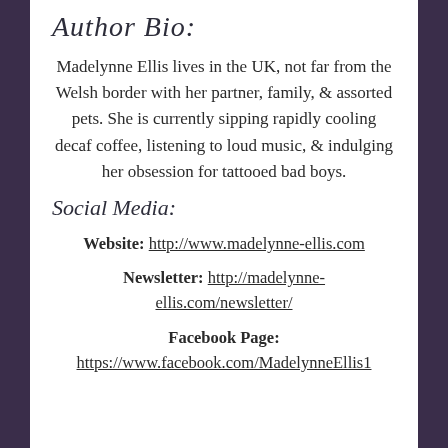Author Bio:
Madelynne Ellis lives in the UK, not far from the Welsh border with her partner, family, & assorted pets. She is currently sipping rapidly cooling decaf coffee, listening to loud music, & indulging her obsession for tattooed bad boys.
Social Media:
Website: http://www.madelynne-ellis.com
Newsletter: http://madelynne-ellis.com/newsletter/
Facebook Page: https://www.facebook.com/MadelynneEllis1